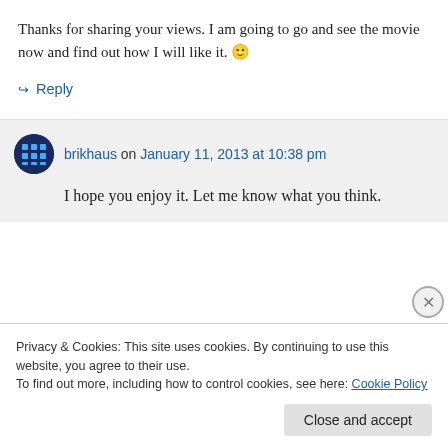Thanks for sharing your views. I am going to go and see the movie now and find out how I will like it. 🙂
↪ Reply
brikhaus on January 11, 2013 at 10:38 pm
I hope you enjoy it. Let me know what you think.
Privacy & Cookies: This site uses cookies. By continuing to use this website, you agree to their use.
To find out more, including how to control cookies, see here: Cookie Policy